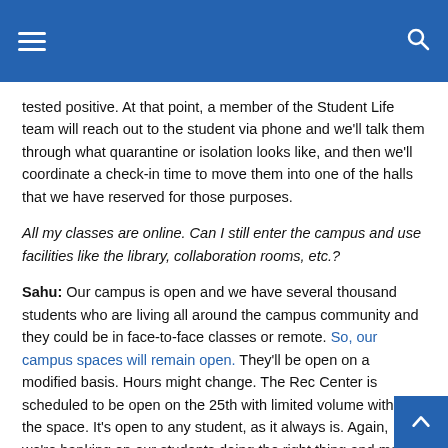tested positive. At that point, a member of the Student Life team will reach out to the student via phone and we'll talk them through what quarantine or isolation looks like, and then we'll coordinate a check-in time to move them into one of the halls that we have reserved for those purposes.
All my classes are online. Can I still enter the campus and use facilities like the library, collaboration rooms, etc.?
Sahu: Our campus is open and we have several thousand students who are living all around the campus community and they could be in face-to-face classes or remote. So, our campus spaces will remain open. They'll be open on a modified basis. Hours might change. The Rec Center is scheduled to be open on the 25th with limited volume within the space. It's open to any student, as it always is. Again, we're banking on our students doing the right thing and making the right decisions, whether they are in face-to-face or remote classes. We believe in our student